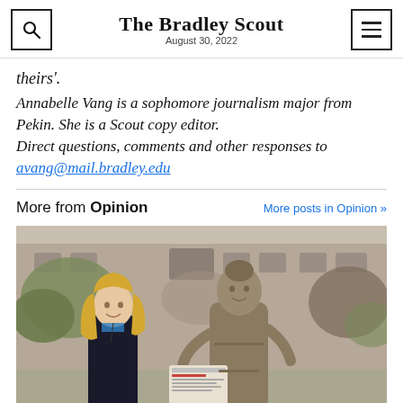The Bradley Scout — August 30, 2022
theirs'.
Annabelle Vang is a sophomore journalism major from Pekin. She is a Scout copy editor.
Direct questions, comments and other responses to avang@mail.bradley.edu
More from Opinion
[Figure (photo): A woman with long blonde hair stands smiling next to a bronze statue of an older woman holding a newspaper, outside a stone building with autumn foliage.]